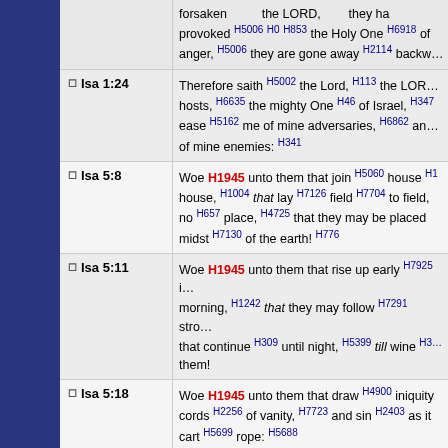forsaken ... the LORD, ... they have provoked H5006 H0 H853 the Holy One H6918 of anger, H5006 they are gone away H2114 backw...
Isa 1:24 Therefore saith H5002 the Lord, H113 the LORD of hosts, H6635 the mighty One H46 of Israel, H347 ease H5162 me of mine adversaries, H6862 and of mine enemies: H341
Isa 5:8 Woe H1945 unto them that join H5060 house H1 house, H1004 that lay H7126 field H7704 to field, no H657 place, H4725 that they may be placed midst H7130 of the earth! H776
Isa 5:11 Woe H1945 unto them that rise up early H7925 morning, H1242 that they may follow H7291 stro... that continue H309 until night, H5399 till wine H3... them!
Isa 5:18 Woe H1945 unto them that draw H4900 iniquity cords H2256 of vanity, H7723 and sin H2403 as it cart H5699 rope: H5688
Isa 5:20 Woe H1945 unto them that call H559 evil H7451 good H2896 evil; H7451 that put H7760 darkness light, H216 and light H216 for darkness; H2822 th bitter H4751 for sweet, H4966 and sweet H4966 f...
Isa 5:21 Woe H1945 unto them that are wise H2450 in th...